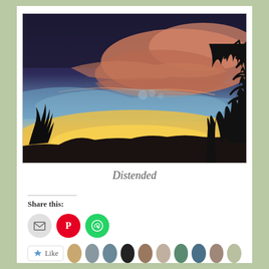[Figure (photo): A dramatic sunset landscape photograph showing vibrant orange and pink clouds against a dark blue sky, with silhouettes of trees and hills along the horizon.]
Distended
Share this:
[Figure (infographic): Social share buttons: email (grey circle), Pinterest (red circle with P icon), WhatsApp (green circle with phone icon)]
[Figure (infographic): Like button with star icon and 'Like' text, followed by a row of user avatar thumbnails]